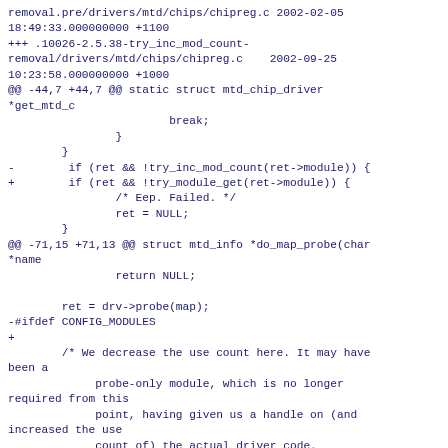removal.pre/drivers/mtd/chips/chipreg.c 2002-02-05 18:49:33.000000000 +1100
+++ .10026-2.5.38-try_inc_mod_count-removal/drivers/mtd/chips/chipreg.c    2002-09-25 10:23:58.000000000 +1000
@@ -44,7 +44,7 @@ static struct mtd_chip_driver *get_mtd_c
                        break;
                }
        }
-        if (ret && !try_inc_mod_count(ret->module)) {
+        if (ret && !try_module_get(ret->module)) {
                /* Eep. Failed. */
                ret = NULL;
        }
@@ -71,15 +71,13 @@ struct mtd_info *do_map_probe(char *name
                return NULL;

        ret = drv->probe(map);
-#ifdef CONFIG_MODULES
+
        /* We decrease the use count here. It may have been a
             probe-only module, which is no longer required from this
             point, having given us a handle on (and increased the use
             count of) the actual driver code.
        */